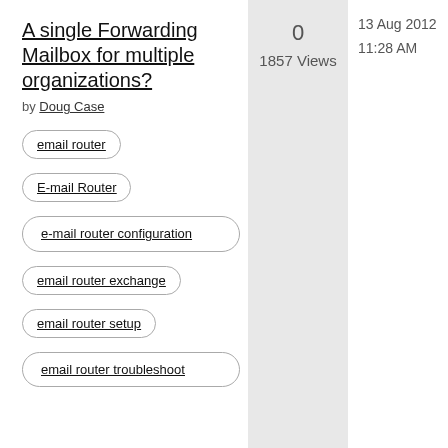A single Forwarding Mailbox for multiple organizations?
by Doug Case
email router
E-mail Router
e-mail router configuration
email router exchange
email router setup
email router troubleshoot
0
1857 Views
13 Aug 2012
11:28 AM